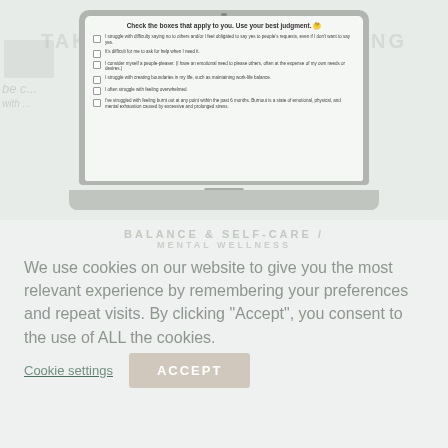[Figure (screenshot): Laptop computer displaying a quiz/checklist titled 'Check the boxes that apply to you. Use your best judgment.' with multiple checkbox items about struggles with saying no, asking for help, people-pleasing, creating boundaries, feeling overwhelmed, and burnout.]
We use cookies on our website to give you the most relevant experience by remembering your preferences and repeat visits. By clicking "Accept", you consent to the use of ALL the cookies.
Cookie settings
ACCEPT